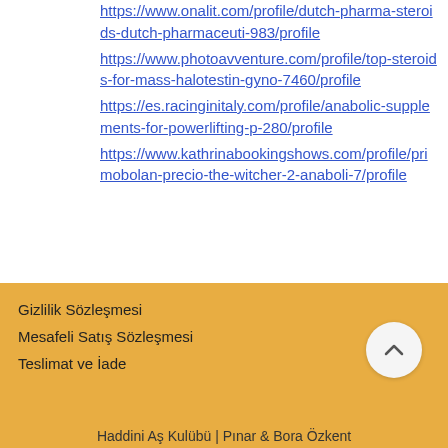https://www.onalit.com/profile/dutch-pharma-steroids-dutch-pharmaceuti-983/profile
https://www.photoavventure.com/profile/top-steroids-for-mass-halotestin-gyno-7460/profile
https://es.racinginitaly.com/profile/anabolic-supplements-for-powerlifting-p-280/profile
https://www.kathrinabookingshows.com/profile/primobolan-precio-the-witcher-2-anaboli-7/profile
Gizlilik Sözleşmesi
Mesafeli Satış Sözleşmesi
Teslimat ve İade
Haddini Aş Kulübü | Pınar & Bora Özkent